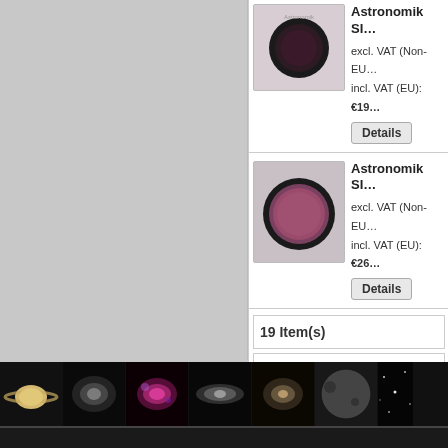[Figure (photo): Left gray sidebar/panel area of e-commerce page]
[Figure (photo): Astronomik filter product image 1 - small dark circular filter in black mount]
Astronomik SI...
excl. VAT (Non-EU...
incl. VAT (EU): €19...
Details
[Figure (photo): Astronomik filter product image 2 - larger circular filter with pink/magenta glass in black mount]
Astronomik SI...
excl. VAT (Non-EU...
incl. VAT (EU): €26...
Details
19 Item(s)
View as: List  Grid
[Figure (photo): Bottom strip of astronomy images: Saturn, nebula, colorful nebula, galaxy, spiral galaxy, moon surface, star field, Horsehead nebula]